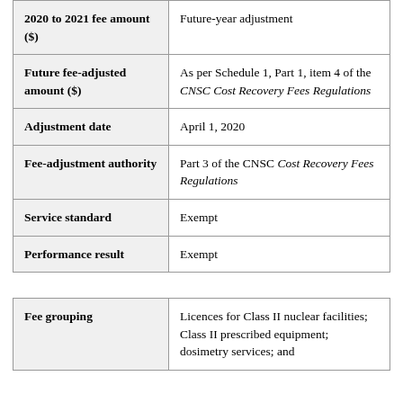| Field | Value |
| --- | --- |
| 2020 to 2021 fee amount ($) | Future-year adjustment |
| Future fee-adjusted amount ($) | As per Schedule 1, Part 1, item 4 of the CNSC Cost Recovery Fees Regulations |
| Adjustment date | April 1, 2020 |
| Fee-adjustment authority | Part 3 of the CNSC Cost Recovery Fees Regulations |
| Service standard | Exempt |
| Performance result | Exempt |
| Field | Value |
| --- | --- |
| Fee grouping | Licences for Class II nuclear facilities; Class II prescribed equipment; dosimetry services; and |